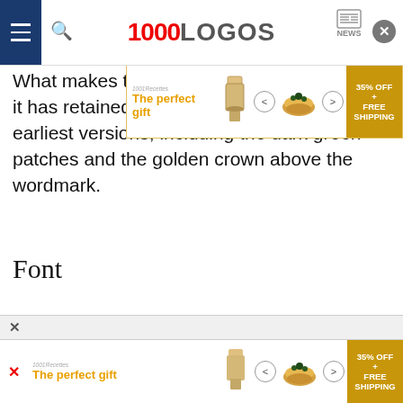1000LOGOS NEWS
[Figure (infographic): Advertisement banner: 'The perfect gift' with chef illustration, food bowl image, navigation arrows, and '35% OFF + FREE SHIPPING' promo badge]
What makes this Jacobs logo different is that it has retained design elements from the earliest versions, including the dark green patches and the golden crown above the wordmark.
Font
[Figure (logo): Jacobs Café logo showing 'JACOBS' in large golden serif letters and 'Café' in black italic serif below]
[Figure (infographic): Bottom advertisement banner: 'The perfect gift' with chef illustration, food bowl image, navigation arrows, and '35% OFF + FREE SHIPPING' promo badge]